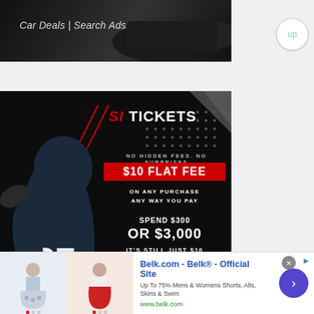[Figure (screenshot): Car Deals | Search Ads - dark banner advertisement with car silhouette]
up
[Figure (screenshot): SI Tickets advertisement: NO HIDDEN FEES. NO SURPRISES. $10 FLAT FEE ON ANY PURCHASE ANY WAY YOU PAY. SPEND $300 OR $3,000 IT'S STILL JUST $10. GET TICKETS button. Football player image on dark background.]
We Found the Cheapest Tickets
[Figure (screenshot): Belk.com - Belk® - Official Site advertisement. Up To 75% Mens & Womens Shorts, Alts, Skirts & Swim. www.belk.com. Two women in skirts/shorts shown.]